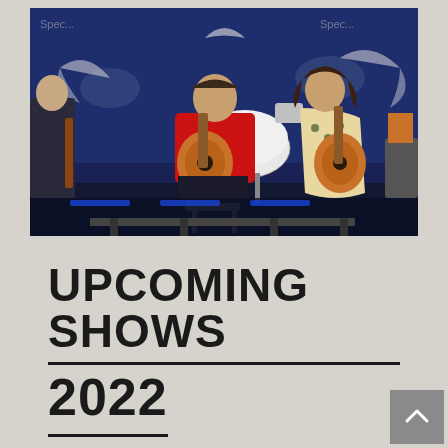[Figure (photo): Musicians performing on stage. A man in a red sweater sits playing an acoustic guitar in the center, a woman in a floral dress plays acoustic guitar on the right, and another performer is partially visible on the left. A drum kit is visible in the background against a blue-lit backdrop with decorative bird/wing motifs.]
UPCOMING SHOWS 2022